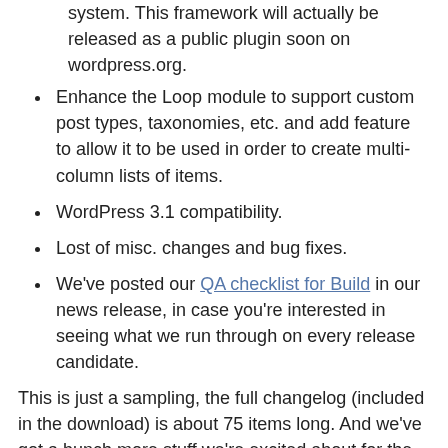system. This framework will actually be released as a public plugin soon on wordpress.org.
Enhance the Loop module to support custom post types, taxonomies, etc. and add feature to allow it to be used in order to create multi-column lists of items.
WordPress 3.1 compatibility.
Lost of misc. changes and bug fixes.
We've posted our QA checklist for Build in our news release, in case you're interested in seeing what we run through on every release candidate.
This is just a sampling, the full changelog (included in the download) is about 75 items long. And we've got a bunch more stuff we're excited about for the next version.
Check it out, I hope you like it.
This post is part of the following projects: